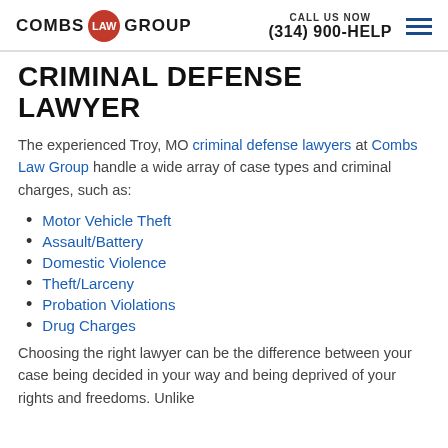COMBS LAW GROUP | CALL US NOW (314) 900-HELP
CRIMINAL DEFENSE LAWYER
The experienced Troy, MO criminal defense lawyers at Combs Law Group handle a wide array of case types and criminal charges, such as:
Motor Vehicle Theft
Assault/Battery
Domestic Violence
Theft/Larceny
Probation Violations
Drug Charges
Choosing the right lawyer can be the difference between your case being decided in your way and being deprived of your rights and freedoms. Unlike